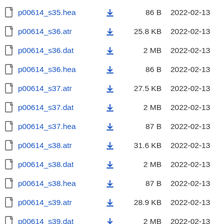p00614_s35.hea  86 B  2022-02-13
p00614_s36.atr  25.8 KB  2022-02-13
p00614_s36.dat  2 MB  2022-02-13
p00614_s36.hea  86 B  2022-02-13
p00614_s37.atr  27.5 KB  2022-02-13
p00614_s37.dat  2 MB  2022-02-13
p00614_s37.hea  87 B  2022-02-13
p00614_s38.atr  31.6 KB  2022-02-13
p00614_s38.dat  2 MB  2022-02-13
p00614_s38.hea  87 B  2022-02-13
p00614_s39.atr  28.9 KB  2022-02-13
p00614_s39.dat  2 MB  2022-02-13
p00614_s39.hea  87 B  2022-02-13
p00614_s40.atr  28.4 KB  2022-02-13